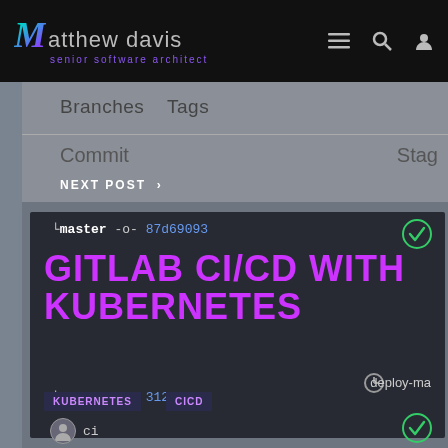matthew davis — senior software architect
[Figure (screenshot): GitLab CI/CD pipeline interface showing branches, tags, commit and pipeline status columns with master branch commits]
Branches   Tags
Commit   Stag
NEXT POST
GITLAB CI/CD WITH KUBERNETES
master -o- 87d69093
deploy-ma
master -o- 31244 22f
ci
KUBERNETES
CICD